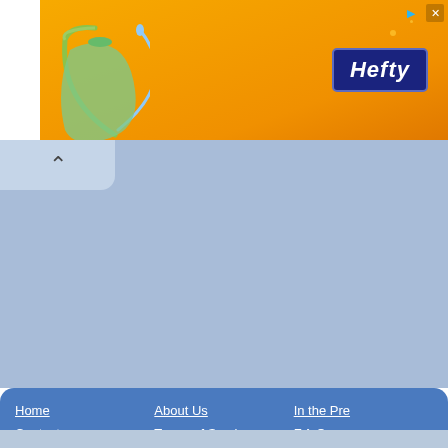[Figure (screenshot): Hefty brand advertisement banner with orange background, showing a Hefty logo in blue rectangle on the right side, and a green Hefty bag with water arc on the left side. Small play and close buttons visible at top right.]
[Figure (screenshot): Light blue-gray content area with a collapsible tab showing an up chevron (^) in the top-left area.]
Home | About Us | In the Pre... | Contact | Terms of Service | F.A.Q. | Careers | Privacy Policy